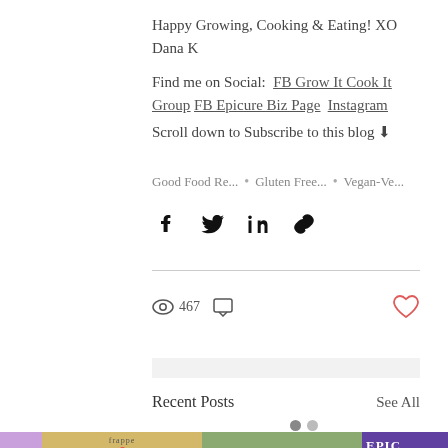Happy Growing, Cooking & Eating! XO Dana K
Find me on Social:  FB Grow It Cook It Group  FB Epicure Biz Page  Instagram
Scroll down to Subscribe to this blog ⬇
Good Food Re...  •  Gluten Free...  •  Vegan-Ve...
[Figure (other): Social share icons: Facebook, Twitter, LinkedIn, link]
[Figure (other): Stats row: 467 views icon, comment icon, heart/like icon]
Recent Posts
See All
[Figure (photo): Four post thumbnail images: purple spheres (partial), frappe drink, smoothie in tall glass, purple EPIC branded card]